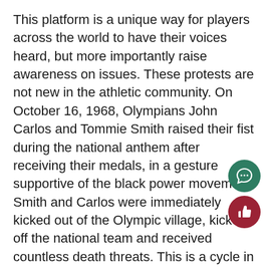This platform is a unique way for players across the world to have their voices heard, but more importantly raise awareness on issues. These protests are not new in the athletic community. On October 16, 1968, Olympians John Carlos and Tommie Smith raised their fist during the national anthem after receiving their medals, in a gesture supportive of the black power movement Smith and Carlos were immediately kicked out of the Olympic village, kicked off the national team and received countless death threats. This is a cycle in which many people of color in the world of sports and beyond are trapped. They protest violence, such as racial inequalities, and in turn are faced with further violence, intimidation, and threats.
We are in a pivotal time in our history as a new phase of protests are unfolding before our very eyes. It is essential that we recognize the message of